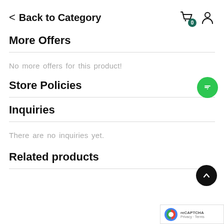< Back to Category
More Offers
No more offers for this product!
Store Policies
Inquiries
There are no inquiries yet.
Related products